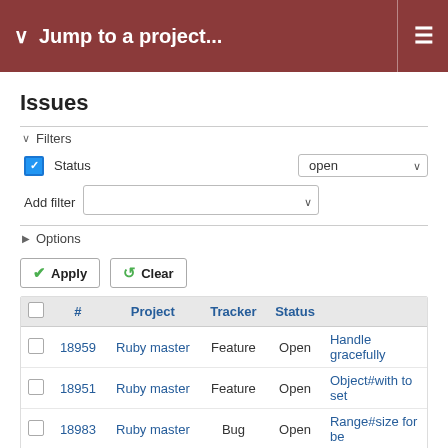Jump to a project...
Issues
Filters
Status — open
Add filter
Options
Apply   Clear
|  | # | Project | Tracker | Status |  |
| --- | --- | --- | --- | --- | --- |
|  | 18959 | Ruby master | Feature | Open | Handle gracefully |
|  | 18951 | Ruby master | Feature | Open | Object#with to set |
|  | 18983 | Ruby master | Bug | Open | Range#size for be |
|  | 18977 | Ruby master | Misc | Open | DevMeeting-2022- |
|  | 18784 | Ruby master | Bug | Open | `FileUtils.rm_f` and exceptions |